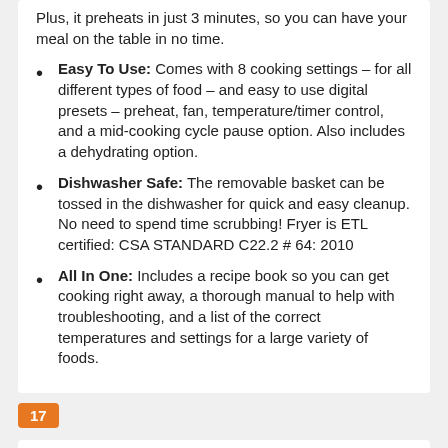Plus, it preheats in just 3 minutes, so you can have your meal on the table in no time.
Easy To Use: Comes with 8 cooking settings – for all different types of food – and easy to use digital presets – preheat, fan, temperature/timer control, and a mid-cooking cycle pause option. Also includes a dehydrating option.
Dishwasher Safe: The removable basket can be tossed in the dishwasher for quick and easy cleanup. No need to spend time scrubbing! Fryer is ETL certified: CSA STANDARD C22.2 # 64: 2010
All In One: Includes a recipe book so you can get cooking right away, a thorough manual to help with troubleshooting, and a list of the correct temperatures and settings for a large variety of foods.
17
[Figure (photo): Photo of a digital air fryer with control panel showing 350°F display and multiple cooking setting buttons, dark/black colored unit]